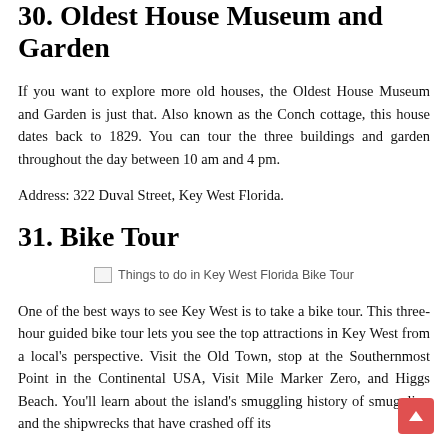30. Oldest House Museum and Garden
If you want to explore more old houses, the Oldest House Museum and Garden is just that. Also known as the Conch cottage, this house dates back to 1829. You can tour the three buildings and garden throughout the day between 10 am and 4 pm.
Address: 322 Duval Street, Key West Florida.
31. Bike Tour
[Figure (photo): Image placeholder showing broken image icon with alt text: Things to do in Key West Florida Bike Tour]
One of the best ways to see Key West is to take a bike tour. This three-hour guided bike tour lets you see the top attractions in Key West from a local's perspective. Visit the Old Town, stop at the Southernmost Point in the Continental USA, Visit Mile Marker Zero, and Higgs Beach. You'll learn about the island's smuggling history of smuggling and the shipwrecks that have crashed off its